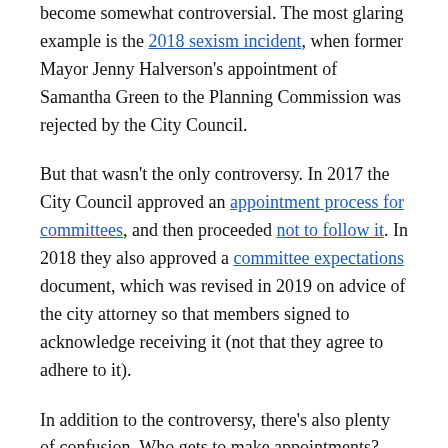become somewhat controversial. The most glaring example is the 2018 sexism incident, when former Mayor Jenny Halverson's appointment of Samantha Green to the Planning Commission was rejected by the City Council.
But that wasn't the only controversy. In 2017 the City Council approved an appointment process for committees, and then proceeded not to follow it. In 2018 they also approved a committee expectations document, which was revised in 2019 on advice of the city attorney so that members signed to acknowledge receiving it (not that they agree to adhere to it).
In addition to the controversy, there's also plenty of confusion. Who gets to make appointments?